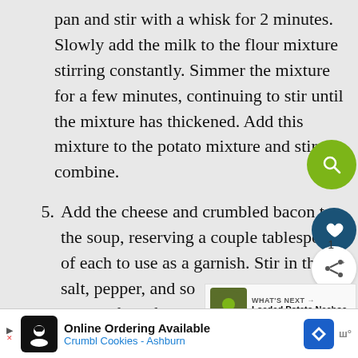pan and stir with a whisk for 2 minutes. Slowly add the milk to the flour mixture stirring constantly. Simmer the mixture for a few minutes, continuing to stir until the mixture has thickened. Add this mixture to the potato mixture and stir to combine.
5. Add the cheese and crumbled bacon to the soup, reserving a couple tablespoons of each to use as a garnish. Stir in the salt, pepper, and so[ur cream.] Simmer for a few more minutes until
WHAT'S NEXT → Loaded Potato Nachos
Online Ordering Available Crumbl Cookies - Ashburn